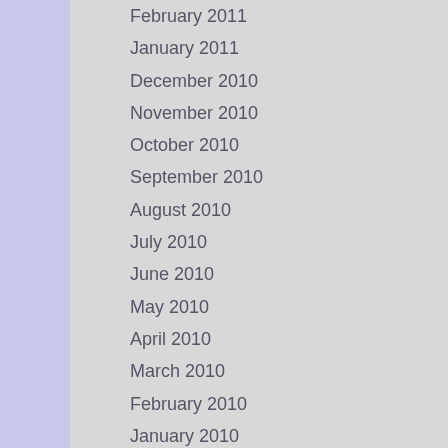February 2011
January 2011
December 2010
November 2010
October 2010
September 2010
August 2010
July 2010
June 2010
May 2010
April 2010
March 2010
February 2010
January 2010
December 2009
November 2009
October 2009
September 2009
August 2009
July 2009